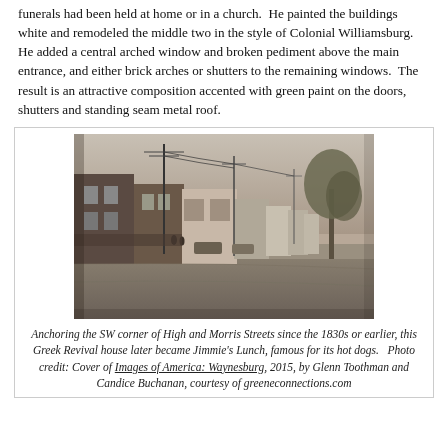funerals had been held at home or in a church. He painted the buildings white and remodeled the middle two in the style of Colonial Williamsburg. He added a central arched window and broken pediment above the main entrance, and either brick arches or shutters to the remaining windows. The result is an attractive composition accented with green paint on the doors, shutters and standing seam metal roof.
[Figure (photo): Black and white historical photograph of a street scene anchoring the SW corner of High and Morris Streets, showing a row of commercial buildings, utility poles, parked vehicles, and trees, circa 1930s.]
Anchoring the SW corner of High and Morris Streets since the 1830s or earlier, this Greek Revival house later became Jimmie's Lunch, famous for its hot dogs. Photo credit: Cover of Images of America: Waynesburg, 2015, by Glenn Toothman and Candice Buchanan, courtesy of greeneconnections.com